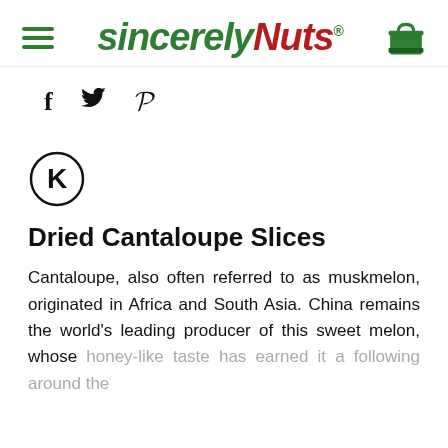[Figure (logo): Sincerely Nuts logo with hamburger menu icon on left and shopping bag icon on right]
[Figure (other): Social media sharing icons: Facebook (f), Twitter (bird), Pinterest (P)]
[Figure (other): Kosher certification symbol: circled K]
Dried Cantaloupe Slices
Cantaloupe, also often referred to as muskmelon, originated in Africa and South Asia. China remains the world's leading producer of this sweet melon, whose honey-like taste has earned it a following around the